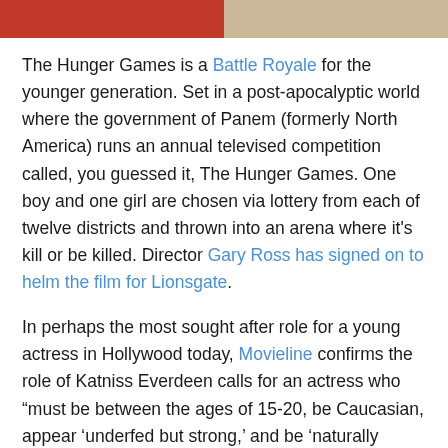[Figure (photo): Top portion of a photo strip showing two people, cropped at the bottom of the image strip at the top of the page.]
The Hunger Games is a Battle Royale for the younger generation. Set in a post-apocalyptic world where the government of Panem (formerly North America) runs an annual televised competition called, you guessed it, The Hunger Games. One boy and one girl are chosen via lottery from each of twelve districts and thrown into an arena where it's kill or be killed. Director Gary Ross has signed on to helm the film for Lionsgate.
In perhaps the most sought after role for a young actress in Hollywood today, Movieline confirms the role of Katniss Everdeen calls for an actress who “must be between the ages of 15-20, be Caucasian, appear ‘underfed but strong,’ and be ‘naturally pretty underneath her tomboyishness’."